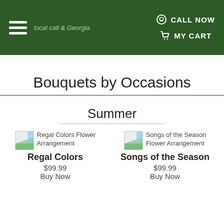CALL NOW | MY CART
Bouquets by Occasions
Summer
Regal Colors Flower Arrangement
Regal Colors
$99.99
Buy Now
Songs of the Season Flower Arrangement
Songs of the Season
$99.99
Buy Now